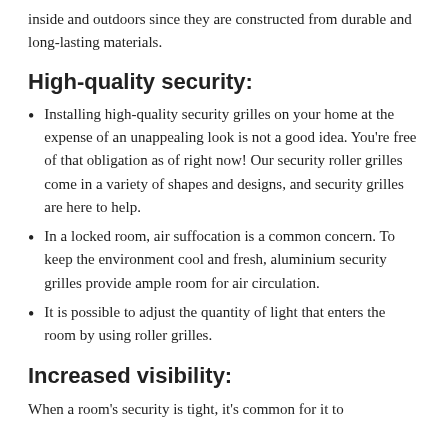inside and outdoors since they are constructed from durable and long-lasting materials.
High-quality security:
Installing high-quality security grilles on your home at the expense of an unappealing look is not a good idea. You're free of that obligation as of right now! Our security roller grilles come in a variety of shapes and designs, and security grilles are here to help.
In a locked room, air suffocation is a common concern. To keep the environment cool and fresh, aluminium security grilles provide ample room for air circulation.
It is possible to adjust the quantity of light that enters the room by using roller grilles.
Increased visibility:
When a room's security is tight, it's common for it to